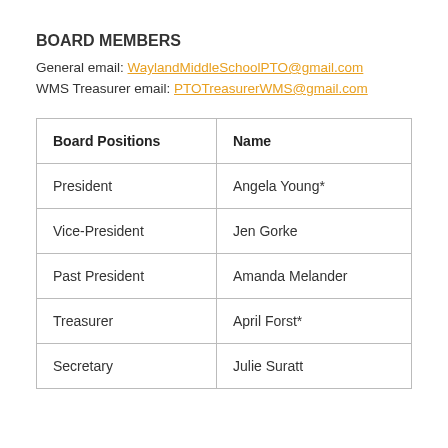BOARD MEMBERS
General email: WaylandMiddleSchoolPTO@gmail.com
WMS Treasurer email: PTOTreasurerWMS@gmail.com
| Board Positions | Name |
| --- | --- |
| President | Angela Young* |
| Vice-President | Jen Gorke |
| Past President | Amanda Melander |
| Treasurer | April Forst* |
| Secretary | Julie Suratt |